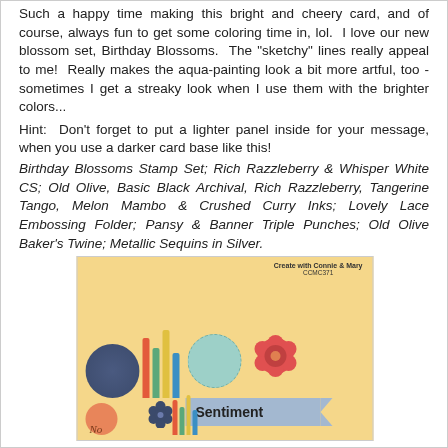Such a happy time making this bright and cheery card, and of course, always fun to get some coloring time in, lol. I love our new blossom set, Birthday Blossoms. The "sketchy" lines really appeal to me! Really makes the aqua-painting look a bit more artful, too - sometimes I get a streaky look when I use them with the brighter colors...
Hint: Don't forget to put a lighter panel inside for your message, when you use a darker card base like this!
Birthday Blossoms Stamp Set; Rich Razzleberry & Whisper White CS; Old Olive, Basic Black Archival, Rich Razzleberry, Tangerine Tango, Melon Mambo & Crushed Curry Inks; Lovely Lace Embossing Folder; Pansy & Banner Triple Punches; Old Olive Baker's Twine; Metallic Sequins in Silver.
[Figure (illustration): Card sketch diagram showing layout with label 'Create with Connie & Mary CCMC371' at top right. Peach/tan background card with decorative elements: dark navy dotted circle at bottom left, colored vertical stripes (red, green, yellow, blue), teal dashed circle, red flower, light blue banner with 'Sentiment' text and arrow, small navy flower, orange circle, 'No' italic text at bottom left.]